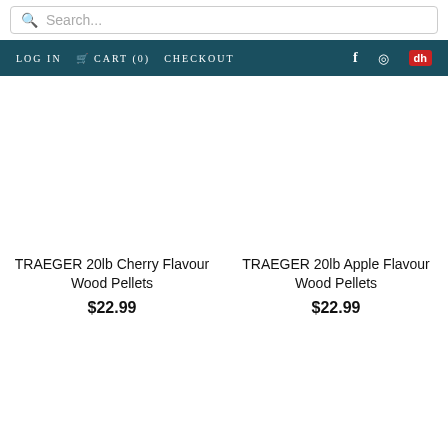Search...
LOG IN  CART (0)  CHECKOUT
TRAEGER 20lb Cherry Flavour Wood Pellets $22.99
TRAEGER 20lb Apple Flavour Wood Pellets $22.99